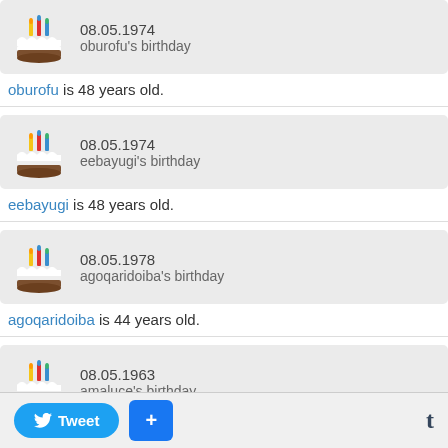[Figure (screenshot): Birthday notification card for oburofu showing cake icon, date 08.05.1974]
oburofu is 48 years old.
[Figure (screenshot): Birthday notification card for eebayugi showing cake icon, date 08.05.1974]
eebayugi is 48 years old.
[Figure (screenshot): Birthday notification card for agoqaridoiba showing cake icon, date 08.05.1978]
agoqaridoiba is 44 years old.
[Figure (screenshot): Birthday notification card for amaluce showing cake icon, date 08.05.1963]
amaluce is 59 years old.
[Figure (screenshot): Birthday notification card for ecuweyoug showing cake icon, date 08.05.1944]
ecuweyoug is 78 years old.
[Figure (screenshot): Birthday notification card for bbstwemo showing cake icon, date 08.05.1983]
bbstwemo is 39 years old.
Tweet  +  t